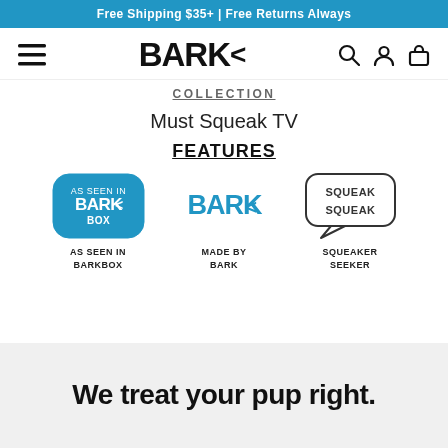Free Shipping $35+ | Free Returns Always
[Figure (logo): BARK logo with hamburger menu icon on left and search, account, cart icons on right]
COLLECTION
Must Squeak TV
FEATURES
[Figure (infographic): Three feature badges: AS SEEN IN BARKBOX badge (blue rounded rectangle), MADE BY BARK badge (blue BARK logo), SQUEAKER SEEKER badge (speech bubble with SQUEAK SQUEAK text)]
We treat your pup right.